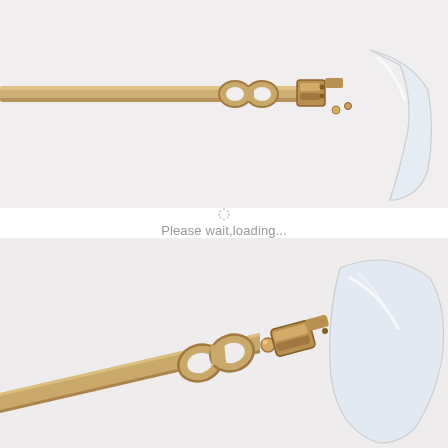[Figure (photo): Close-up photograph of gold-colored rimless eyeglasses temple arm showing decorative chain-link style hinge and lens attachment, viewed from above against a light gray-white background.]
Please wait,loading...
[Figure (photo): Close-up photograph of the same gold-colored rimless eyeglasses temple arm from a lower angle, showing the decorative double-loop chain-link hinge mechanism and the lens clip attachment, with a clear rimless lens visible on the right side.]